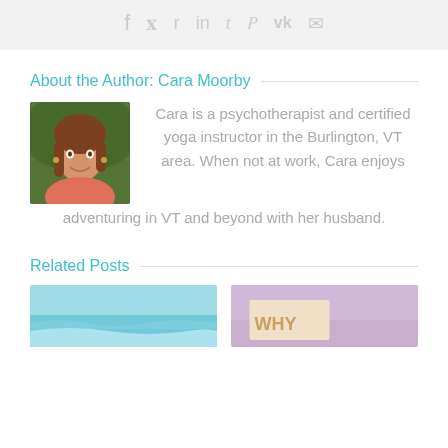[Figure (other): Social media share bar with icons for Facebook, Twitter, Reddit, LinkedIn, Tumblr, Pinterest, VK, and Email on a light gray background]
About the Author: Cara Moorby
[Figure (photo): Headshot photo of Cara Moorby, a woman with long brown hair wearing a coral/pink top, smiling, with green foliage background]
Cara is a psychotherapist and certified yoga instructor in the Burlington, VT area. When not at work, Cara enjoys adventuring in VT and beyond with her husband.
Related Posts
[Figure (photo): Thumbnail image of ocean waves with turquoise water]
[Figure (photo): Thumbnail image with text starting with 'WHY' on what appears to be a wooden or paper surface with purple/pink background]